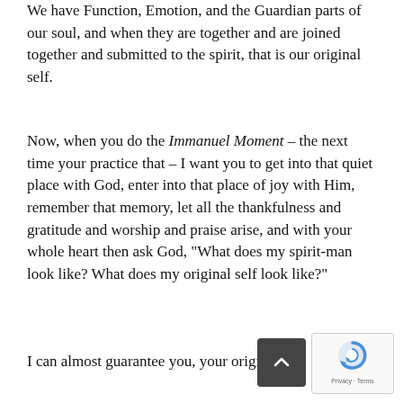We have Function, Emotion, and the Guardian parts of our soul, and when they are together and are joined together and submitted to the spirit, that is our original self.
Now, when you do the Immanuel Moment – the next time your practice that – I want you to get into that quiet place with God, enter into that place of joy with Him, remember that memory, let all the thankfulness and gratitude and worship and praise arise, and with your whole heart then ask God, “What does my spirit-man look like? What does my original self look like?”
I can almost guarantee you, your origin self will feel and look like a newborn, with